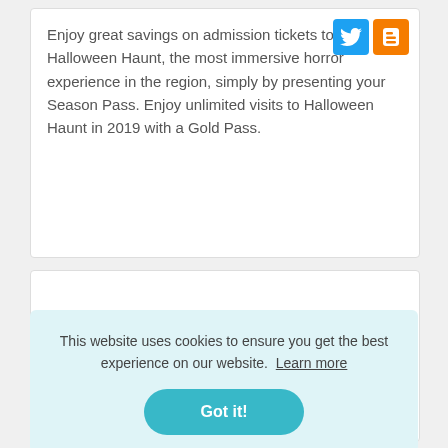[Figure (logo): Twitter and Blogger social media icons in top right of card]
Enjoy great savings on admission tickets to Halloween Haunt, the most immersive horror experience in the region, simply by presenting your Season Pass. Enjoy unlimited visits to Halloween Haunt in 2019 with a Gold Pass.
This website uses cookies to ensure you get the best experience on our website. Learn more
Got it!
Cat Costume - YouTube YouTube بداية المقطع